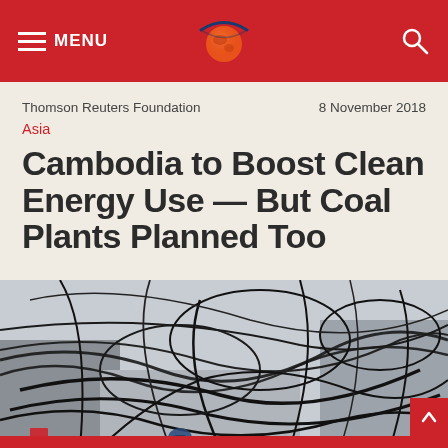MENU | Thomson Reuters Foundation logo | search icon
Thomson Reuters Foundation    8 November 2018
Asia
Cambodia to Boost Clean Energy Use — But Coal Plants Planned Too
[Figure (photo): Tangled mass of electrical wires and cables strung between poles and buildings, with a worker visible below, taken in Cambodia or Southeast Asia.]